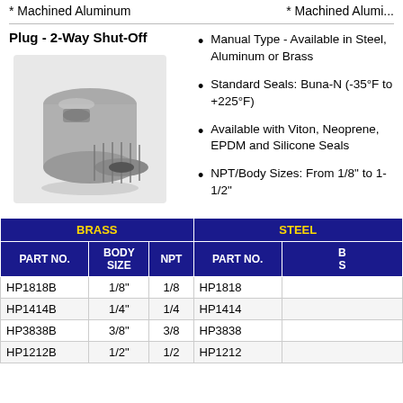* Machined Aluminum
* Machined Aluminum
Plug - 2-Way Shut-Off
[Figure (photo): Photo of a 2-way shut-off plug fitting, metal cylindrical component with threaded female end]
Manual Type - Available or Brass
Standard Seals: Buna to +225°F)
Available with Viton, N EPDM and Silicone S
NPT/Body Sizes: Fro 1-1/2"
| BRASS |  |  | STEEL |  |
| --- | --- | --- | --- | --- |
| PART NO. | BODY SIZE | NPT | PART NO. | B S |
| HP1818B | 1/8" | 1/8 | HP1818 |  |
| HP1414B | 1/4" | 1/4 | HP1414 |  |
| HP3838B | 3/8" | 3/8 | HP3838 |  |
| HP1212B | 1/2" | 1/2 | HP1212 |  |